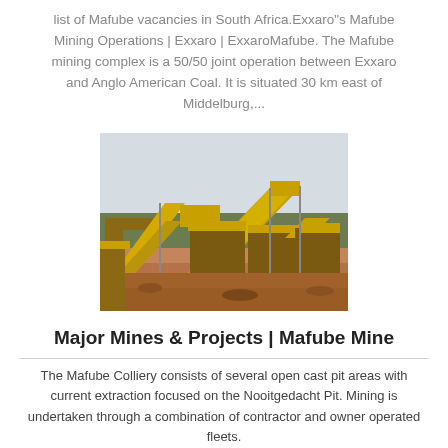list of Mafube vacancies in South Africa.Exxaro"s Mafube Mining Operations | Exxaro | ExxaroMafube. The Mafube mining complex is a 50/50 joint operation between Exxaro and Anglo American Coal. It is situated 30 km east of Middelburg,...
[Figure (photo): Outdoor photo of a mining operation showing large yellow industrial conveyor/crushing equipment and machinery on a reddish-brown dirt surface with an overcast sky in the background.]
Major Mines & Projects | Mafube Mine
The Mafube Colliery consists of several open cast pit areas with current extraction focused on the Nooitgedacht Pit. Mining is undertaken through a combination of contractor and owner operated fleets.